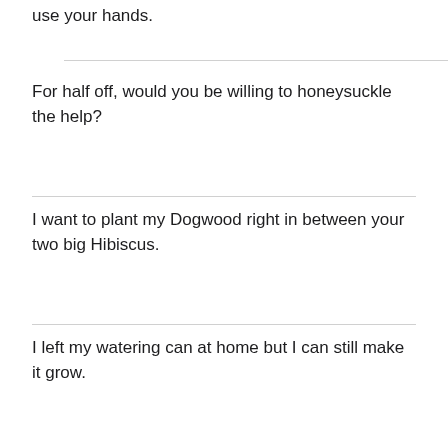use your hands.
For half off, would you be willing to honeysuckle the help?
I want to plant my Dogwood right in between your two big Hibiscus.
I left my watering can at home but I can still make it grow.